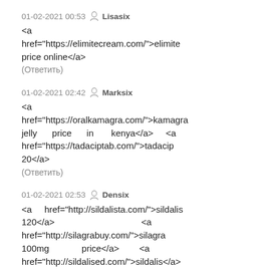01-02-2021 00:53  Lisasix
<a href="https://elimitecream.com/">elimite price online</a>
(Ответить)
01-02-2021 02:42  Marksix
<a href="https://oralkamagra.com/">kamagra jelly price in kenya</a> <a href="https://tadaciptab.com/">tadacip 20</a>
(Ответить)
01-02-2021 02:53  Densix
<a href="http://sildalista.com/">sildalis 120</a>   <a href="http://silagrabuy.com/">silagra 100mg price</a>  <a href="http://sildalised.com/">sildalis</a> <a href="http://oklevitra.com/">where can i buy levitra online</a> <a